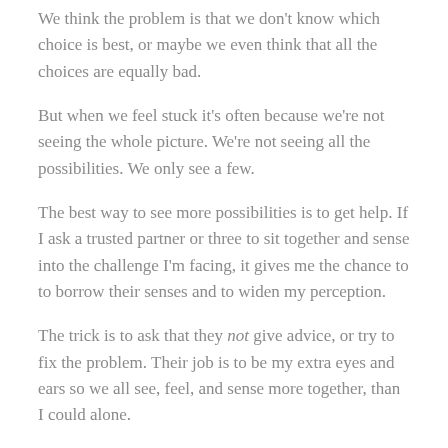We think the problem is that we don't know which choice is best, or maybe we even think that all the choices are equally bad.
But when we feel stuck it's often because we're not seeing the whole picture. We're not seeing all the possibilities. We only see a few.
The best way to see more possibilities is to get help. If I ask a trusted partner or three to sit together and sense into the challenge I'm facing, it gives me the chance to to borrow their senses and to widen my perception.
The trick is to ask that they not give advice, or try to fix the problem. Their job is to be my extra eyes and ears so we all see, feel, and sense more together, than I could alone.
Once I get a broader, higher-resolution picture of the situation, I'll often know what to do.
If I know what's possible, then I know what the best choice is for me to take. But that's a big if. What I often lack is the